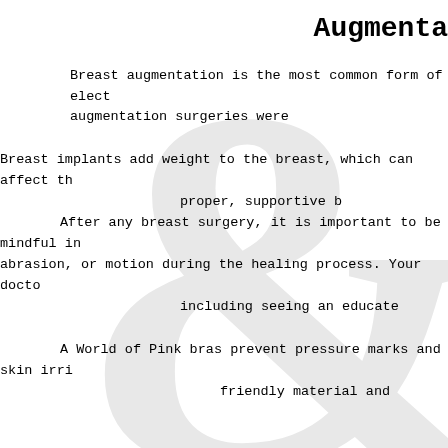Augmenta
Breast augmentation is the most common form of elect augmentation surgeries were
Breast implants add weight to the breast, which can affect th proper, supportive b After any breast surgery, it is important to be mindful in abrasion, or motion during the healing process. Your docto including seeing an educate
A World of Pink bras prevent pressure marks and skin irri friendly material and